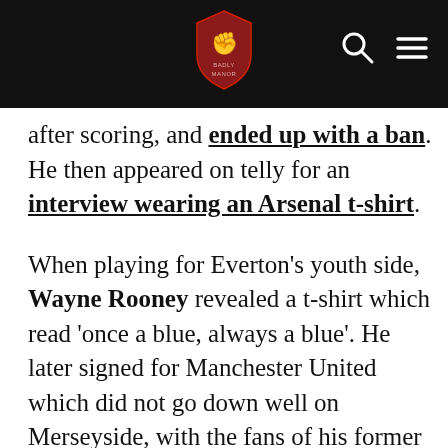[site header with logo, search and menu icons]
after scoring, and ended up with a ban. He then appeared on telly for an interview wearing an Arsenal t-shirt.
When playing for Everton's youth side, Wayne Rooney revealed a t-shirt which read ‘once a blue, always a blue’. He later signed for Manchester United which did not go down well on Merseyside, with the fans of his former club singing “Die, die, Rooney, Rooney, die!” every time the teams meet. In response, Rooney kissed the United badge at Goodison in October 2008. Two years later, he declared he had no intention of signing a new deal at United, before changing his mind.